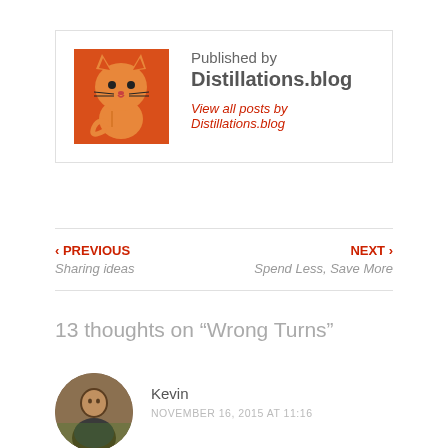[Figure (illustration): Orange cartoon cat logo for Distillations.blog]
Published by
Distillations.blog
View all posts by Distillations.blog
‹ PREVIOUS
Sharing ideas
NEXT ›
Spend Less, Save More
13 thoughts on “Wrong Turns”
[Figure (photo): Circular avatar photo of commenter Kevin]
Kevin
NOVEMBER 16, 2015 AT 11:16